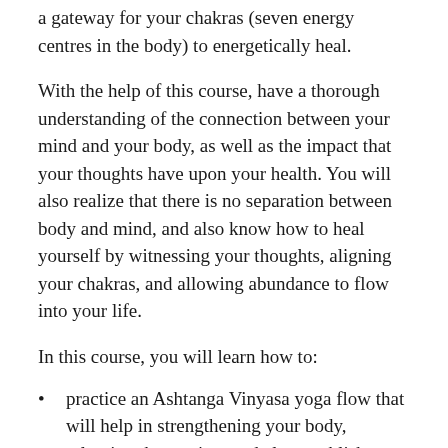a gateway for your chakras (seven energy centres in the body) to energetically heal.
With the help of this course, have a thorough understanding of the connection between your mind and your body, as well as the impact that your thoughts have upon your health. You will also realize that there is no separation between body and mind, and also know how to heal yourself by witnessing your thoughts, aligning your chakras, and allowing abundance to flow into your life.
In this course, you will learn how to:
practice an Ashtanga Vinyasa yoga flow that will help in strengthening your body, releasing the tension, and also establish a healthy mind and body connection.
develop a profound connection with your inner